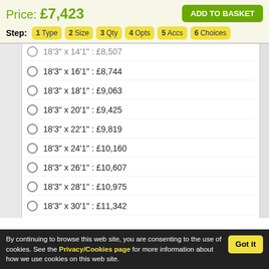Price: £7,423
ADD TO BASKET
Step: 1 Type  2 Size  3 Qty  4 Opts  5 Accs  6 Choices
18'3" x 14'1" : £8,507
18'3" x 16'1" : £8,744
18'3" x 18'1" : £9,063
18'3" x 20'1" : £9,425
18'3" x 22'1" : £9,819
18'3" x 24'1" : £10,160
18'3" x 26'1" : £10,607
18'3" x 28'1" : £10,975
18'3" x 30'1" : £11,342
By continuing to browse this web site, you are consenting to the use of cookies. See the Privacy/Cookies page for more information about how we use cookies on this web site.
Got it